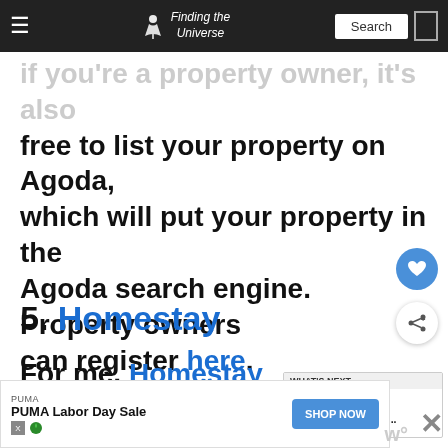Finding the Universe — Search
If you're a property owner, it's also free to list your property on Agoda, which will put your property in the Agoda search engine. Property owners can register here.
5. Homestay
For me, Homestay is what Airbnb is supposed to be. It's a genuinely ho... a... e...
[Figure (screenshot): WHAT'S NEXT card showing '3 Days in Paris: The...' with a thumbnail of Paris]
[Figure (screenshot): Advertisement banner: PUMA Labor Day Sale with SHOP NOW button]